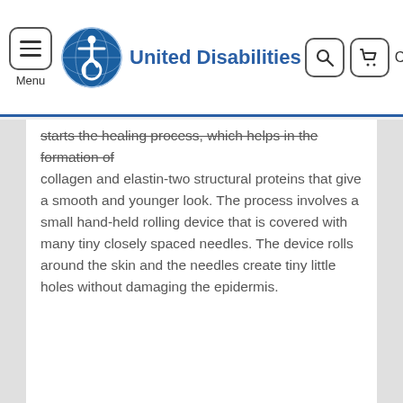United Disabilities
starts the healing process, which helps in the formation of collagen and elastin-two structural proteins that give a smooth and younger look. The process involves a small hand-held rolling device that is covered with many tiny closely spaced needles. The device rolls around the skin and the needles create tiny little holes without damaging the epidermis.